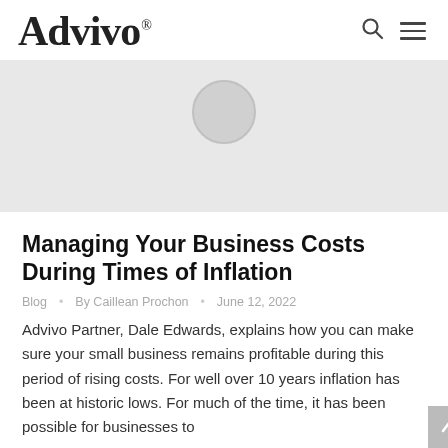Advivo®
[Figure (photo): Light gray hero banner with a circular placeholder/avatar image centered near the top]
Managing Your Business Costs During Times of Inflation
Blog • By Caillean Prochon • June 12, 2022
Advivo Partner, Dale Edwards, explains how you can make sure your small business remains profitable during this period of rising costs. For well over 10 years inflation has been at historic lows. For much of the time, it has been possible for businesses to